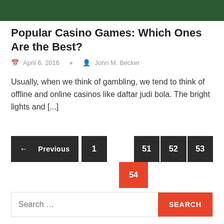[Figure (photo): Dark green casino table surface visible at top of page]
Popular Casino Games: Which Ones Are the Best?
April 6, 2016   John M. Becker
Usually, when we think of gambling, we tend to think of offline and online casinos like daftar judi bola. The bright lights and [...]
← Previous  1  51  52  53  54
Search ...